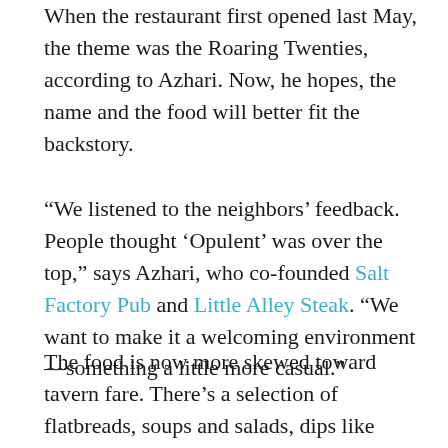When the restaurant first opened last May, the theme was the Roaring Twenties, according to Azhari. Now, he hopes, the name and the food will better fit the backstory.
“We listened to the neighbors’ feedback. People thought ‘Opulent’ was over the top,” says Azhari, who co-founded Salt Factory Pub and Little Alley Steak. “We want to make it a welcoming environment—something a little more casual.”
The food is now more skewed toward tavern fare. There’s a selection of flatbreads, soups and salads, dips like spinach and artichoke and shrimp and crab, and sandwiches, as well as entrees. The burger and eggplant fries, which were popular at Opulent